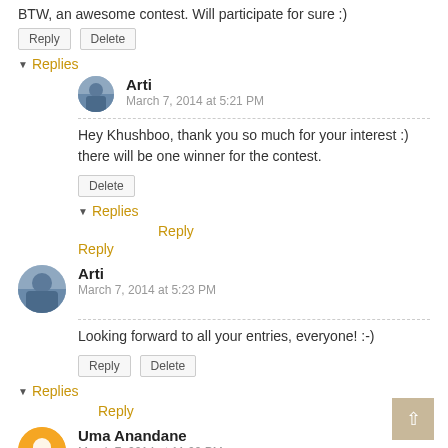BTW, an awesome contest. Will participate for sure :)
Reply | Delete
Replies
Arti
March 7, 2014 at 5:21 PM
Hey Khushboo, thank you so much for your interest :) there will be one winner for the contest.
Delete
Replies
Reply
Reply
Arti
March 7, 2014 at 5:23 PM
Looking forward to all your entries, everyone! :-)
Reply | Delete
Replies
Reply
Uma Anandane
March 7, 2014 at 11:09 PM